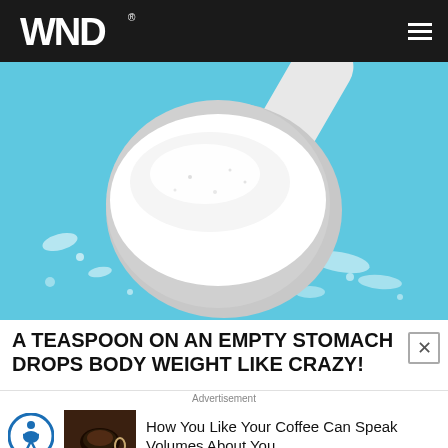WND
[Figure (photo): A white measuring scoop filled with white powder on a light blue background, with scattered powder granules around it.]
A TEASPOON ON AN EMPTY STOMACH DROPS BODY WEIGHT LIKE CRAZY!
[Figure (photo): Advertisement: How You Like Your Coffee Can Speak Volumes About You - thumbnail of coffee cup]
How You Like Your Coffee Can Speak Volumes About You